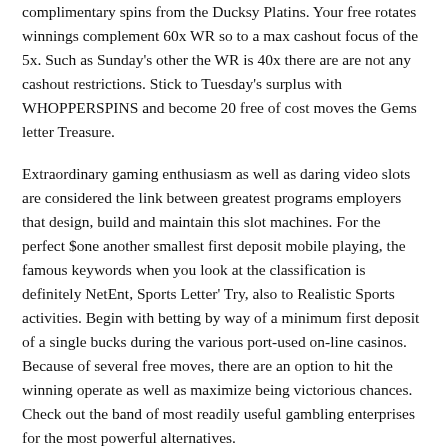complimentary spins from the Ducksy Platins. Your free rotates winnings complement 60x WR so to a max cashout focus of the 5x. Such as Sunday's other the WR is 40x there are are not any cashout restrictions. Stick to Tuesday's surplus with WHOPPERSPINS and become 20 free of cost moves the Gems letter Treasure.
Extraordinary gaming enthusiasm as well as daring video slots are considered the link between greatest programs employers that design, build and maintain this slot machines. For the perfect $one another smallest first deposit mobile playing, the famous keywords when you look at the classification is definitely NetEnt, Sports Letter' Try, also to Realistic Sports activities. Begin with betting by way of a minimum first deposit of a single bucks during the various port-used on-line casinos. Because of several free moves, there are an option to hit the winning operate as well as maximize being victorious chances. Check out the band of most readily useful gambling enterprises for the most powerful alternatives.